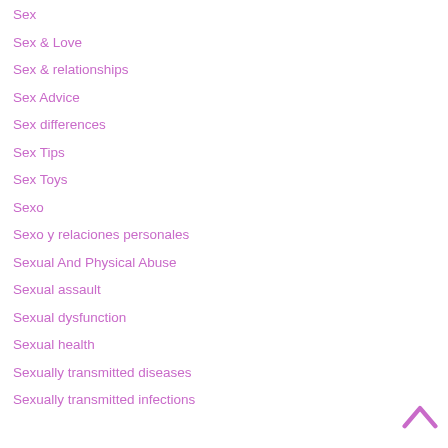Sex
Sex & Love
Sex & relationships
Sex Advice
Sex differences
Sex Tips
Sex Toys
Sexo
Sexo y relaciones personales
Sexual And Physical Abuse
Sexual assault
Sexual dysfunction
Sexual health
Sexually transmitted diseases
Sexually transmitted infections